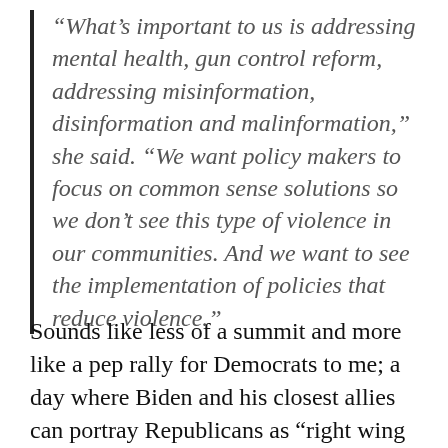“What’s important to us is addressing mental health, gun control reform, addressing misinformation, disinformation and malinformation,” she said. “We want policy makers to focus on common sense solutions so we don’t see this type of violence in our communities. And we want to see the implementation of policies that reduce violence.”
Sounds like less of a summit and more like a pep rally for Democrats to me; a day where Biden and his closest allies can portray Republicans as “right wing extremists” and push for more divisive gun control laws ahead